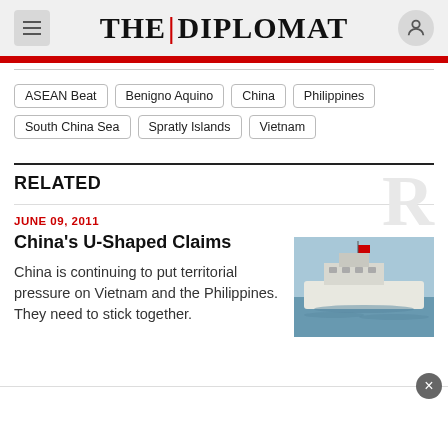THE DIPLOMAT
ASEAN Beat
Benigno Aquino
China
Philippines
South China Sea
Spratly Islands
Vietnam
RELATED
JUNE 09, 2011
China's U-Shaped Claims
China is continuing to put territorial pressure on Vietnam and the Philippines. They need to stick together.
[Figure (photo): A white vessel/ship on water with a red flag, viewed from the side.]